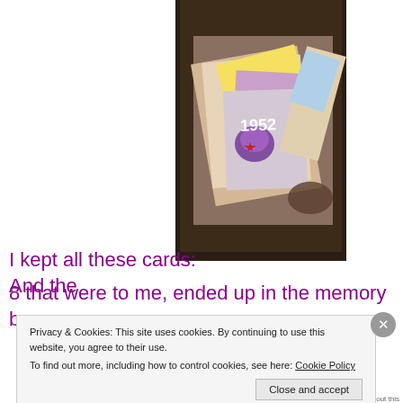[Figure (photo): A drawer or box filled with greeting cards and papers, viewed from above. One card prominently shows '1952' with a floral design.]
I kept all these cards:  And the 8 that were to me, ended up in the memory box.
Privacy & Cookies: This site uses cookies. By continuing to use this website, you agree to their use.
To find out more, including how to control cookies, see here: Cookie Policy